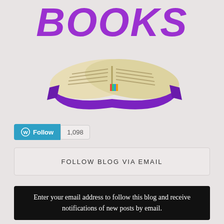[Figure (logo): Colorful book blog logo with purple stylized text 'BOOKS' above an open book illustration with a purple banner/swoosh underneath]
[Figure (screenshot): WordPress Follow button (teal/blue) with WP icon and Follow text, next to a count badge showing 1,098]
FOLLOW BLOG VIA EMAIL
Enter your email address to follow this blog and receive notifications of new posts by email.